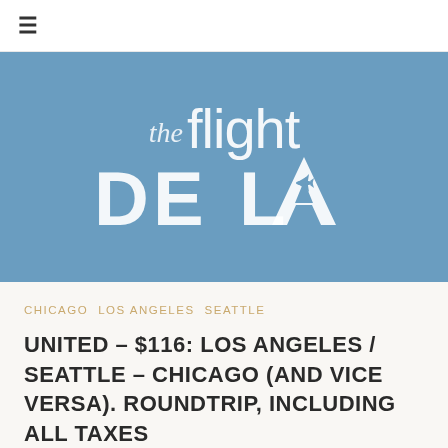≡
[Figure (logo): The Flight Deal logo — white text on steel blue background. 'the flight' in light weight sans-serif on top line, 'DEAL' in bold uppercase below with an airplane silhouette integrated into the letter A.]
CHICAGO  LOS ANGELES  SEATTLE
UNITED – $116: LOS ANGELES / SEATTLE – CHICAGO (AND VICE VERSA). ROUNDTRIP, INCLUDING ALL TAXES